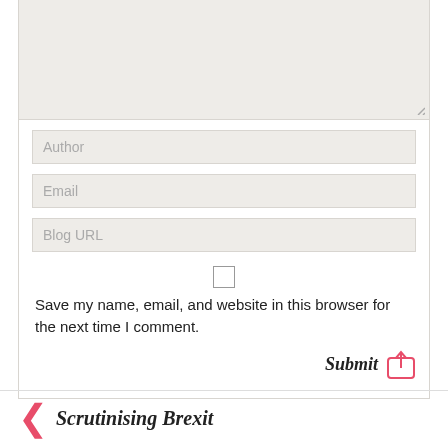[Figure (screenshot): Web form with textarea (partially visible), Author input field, Email input field, Blog URL input field, a checkbox, save-info text, and a Submit button with share icon]
Save my name, email, and website in this browser for the next time I comment.
Submit
< Scrutinising Brexit